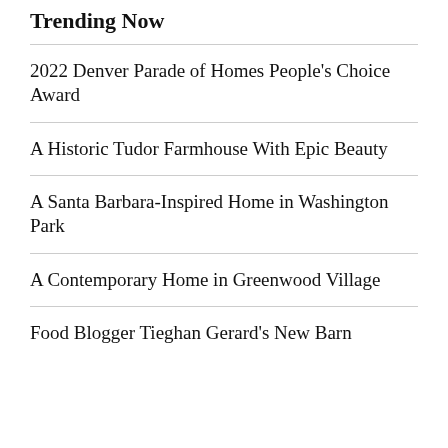Trending Now
2022 Denver Parade of Homes People's Choice Award
A Historic Tudor Farmhouse With Epic Beauty
A Santa Barbara-Inspired Home in Washington Park
A Contemporary Home in Greenwood Village
Food Blogger Tieghan Gerard's New Barn